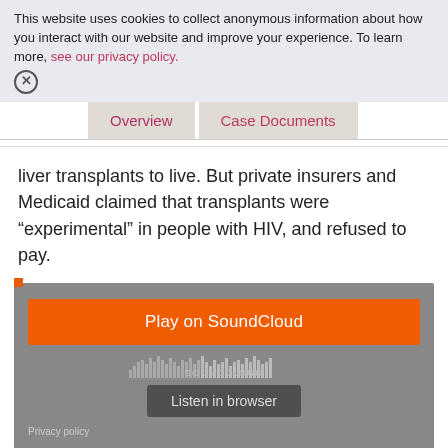This website uses cookies to collect anonymous information about how you interact with our website and improve your experience. To learn more, see our privacy policy.
Overview | Case Documents
liver transplants to live. But private insurers and Medicaid claimed that transplants were “experimental” in people with HIV, and refused to pay.
[Figure (screenshot): SoundCloud embedded audio player with orange Play on SoundCloud button, waveform graphic, SOUNDCLOUD watermark, and Listen in browser button on grey background. Privacy policy link at bottom left.]